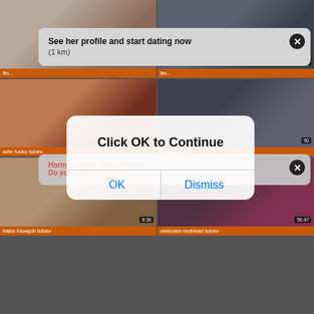[Figure (screenshot): Adult video thumbnail grid with overlay popups. Top-left: skin-toned thumbnail labeled 'fing...'. Top-right: dark thumbnail with duration '52'. Middle-left: woman in bikini labeled 'wife fucks tubev'. Middle-right: dark thumbnail labeled 'essy a tubev' duration '50'. Bottom-left: group scene labeled 'babe blowjob tubev' duration '9:36'. Bottom-right: redhead webcam labeled 'webcam redhead tubev' duration '56:47'. Overlay notifications: 'See her profile and start dating now (1 km)' and 'HornyKaterina from ashburn Do you wanna fuck her?'. iOS dialog: 'Click OK to Continue' with OK and Dismiss buttons.]